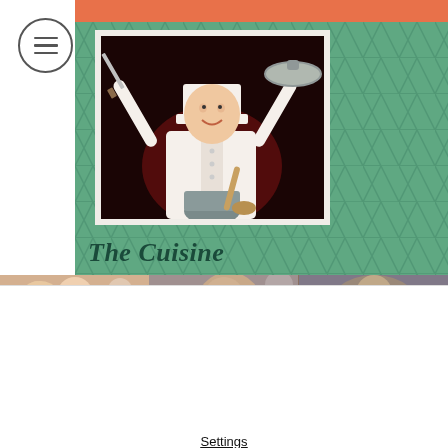[Figure (screenshot): Website screenshot showing a green patterned background with a chef photo and 'The Cuisine' heading, plus a row of event/dancing photos below]
The Cuisine
We use cookies on our website to see how you interact with it. By accepting, you agree to our use of such cookies.
Decline All
Accept
Settings